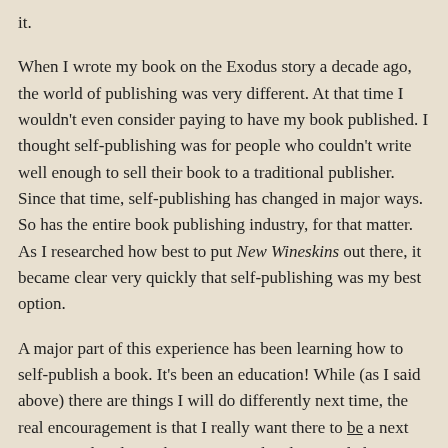it.
When I wrote my book on the Exodus story a decade ago, the world of publishing was very different. At that time I wouldn't even consider paying to have my book published. I thought self-publishing was for people who couldn't write well enough to sell their book to a traditional publisher. Since that time, self-publishing has changed in major ways. So has the entire book publishing industry, for that matter. As I researched how best to put New Wineskins out there, it became clear very quickly that self-publishing was my best option.
A major part of this experience has been learning how to self-publish a book. It's been an education! While (as I said above) there are things I will do differently next time, the real encouragement is that I really want there to be a next time. I'm already working on an updated, expanded version of From Slavery to Freedom, my book about the Exodus. When I first wrote that book, I completed the manuscript in mid-2007. Going through a traditional publisher, it came out in print almost exactly two years later. One of the miracles of